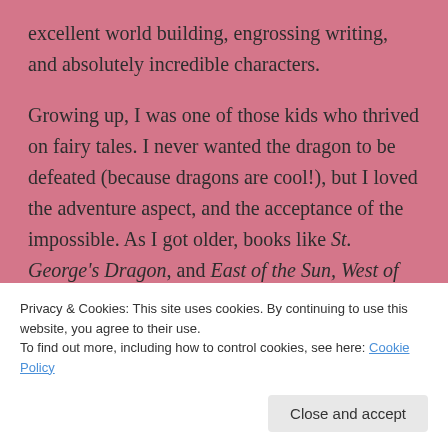excellent world building, engrossing writing, and absolutely incredible characters.

Growing up, I was one of those kids who thrived on fairy tales. I never wanted the dragon to be defeated (because dragons are cool!), but I loved the adventure aspect, and the acceptance of the impossible. As I got older, books like St. George's Dragon, and East of the Sun, West of the Moon, gave way to Anne McCaffrey's Dragonriders of Pern,
Privacy & Cookies: This site uses cookies. By continuing to use this website, you agree to their use.
To find out more, including how to control cookies, see here: Cookie Policy